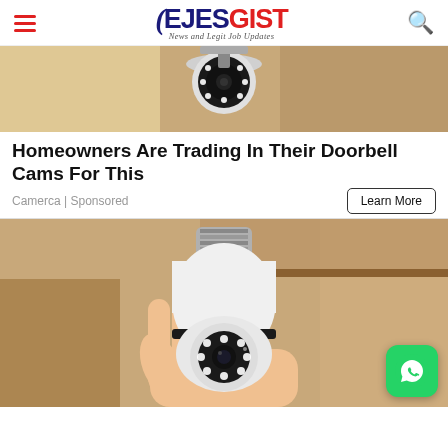EJESGIST — News and Legit Job Updates
[Figure (photo): Security camera mounted on ceiling/wall, showing a ring-style light-socket camera from above]
Homeowners Are Trading In Their Doorbell Cams For This
Camerca | Sponsored
[Figure (photo): A hand holding a white bulb-shaped security camera with LED lights and a lens, with a WhatsApp button overlay in the bottom right]